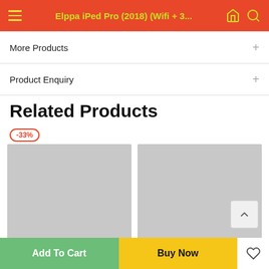Elppa iPed Pro (2018) (Wifi + 3...
More Products
Product Enquiry
Related Products
[Figure (photo): Product image placeholder 1000x1000, with -33% discount badge]
[Figure (photo): Product image placeholder 1000x1000]